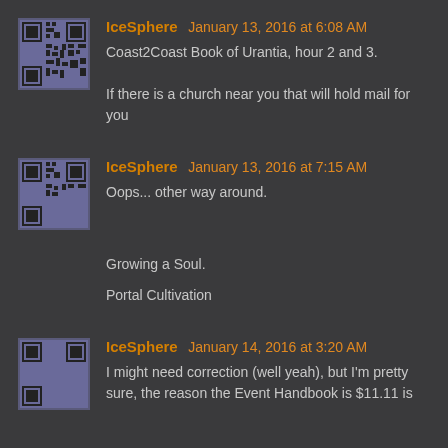IceSphere January 13, 2016 at 6:08 AM
Coast2Coast Book of Urantia, hour 2 and 3.
If there is a church near you that will hold mail for you
IceSphere January 13, 2016 at 7:15 AM
Oops... other way around.
Growing a Soul.
Portal Cultivation
IceSphere January 14, 2016 at 3:20 AM
I might need correction (well yeah), but I'm pretty sure, the reason the Event Handbook is $11.11 is